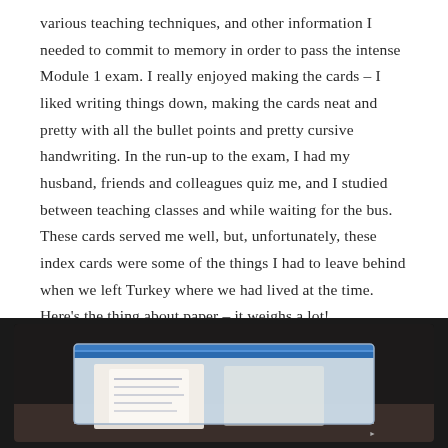various teaching techniques, and other information I needed to commit to memory in order to pass the intense Module 1 exam. I really enjoyed making the cards – I liked writing things down, making the cards neat and pretty with all the bullet points and pretty cursive handwriting. In the run-up to the exam, I had my husband, friends and colleagues quiz me, and I studied between teaching classes and while waiting for the bus. These cards served me well, but, unfortunately, these index cards were some of the things I had to leave behind when we left Turkey where we had lived at the time. Here's the thing about paper – it weighs a lot!
[Figure (photo): A dark-framed image showing a clear zip-lock bag containing index cards with handwritten notes, placed on a dark surface.]